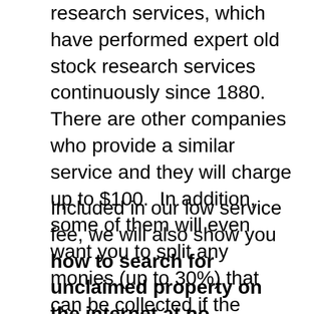research services, which have performed expert old stock research services continuously since 1880. There are other companies who provide a similar service and they will charge up to $100.  In addition, some of them will even want you to split any monies (up to 30%) that can be collected if the certificates are redeemable.  There are no other fees with our service.  We simply provide you the information about the company and how to contact them (or their acquirers)  if they still exist.
Included in our low service fee, we will also show you how to search for unclaimed property on the internet at no additional charge. The origin of unclaimed property law dates back to British common law. Abandoned land was returned to the king along with the transfer of the property rights. Today, this concept has been adopted by the